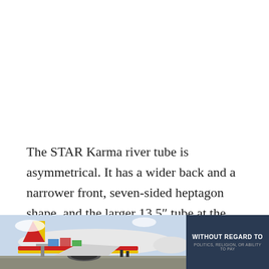The STAR Karma river tube is asymmetrical. It has a wider back and a narrower front, seven-sided heptagon shape, and the larger 13.5″ tube at the back diminishes to 11″ on the front. These design features enhance the stability of the tube keeping it upright when waves get
[Figure (photo): Photo of a cargo aircraft being loaded on a tarmac with an advertisement banner reading 'WITHOUT REGARD TO POLITICS, RELIGION, OR ABILITY TO PAY' on the right side]